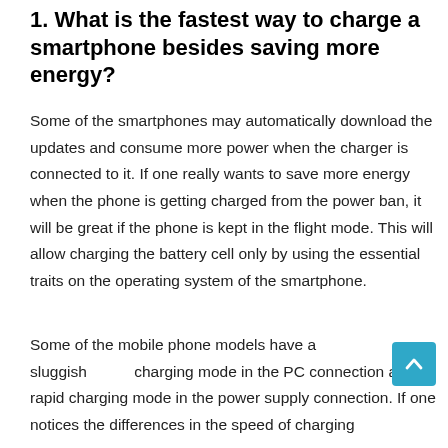1. What is the fastest way to charge a smartphone besides saving more energy?
Some of the smartphones may automatically download the updates and consume more power when the charger is connected to it. If one really wants to save more energy when the phone is getting charged from the power ban, it will be great if the phone is kept in the flight mode. This will allow charging the battery cell only by using the essential traits on the operating system of the smartphone.
Some of the mobile phone models have a sluggish charging mode in the PC connection and a rapid charging mode in the power supply connection. If one notices the differences in the speed of charging